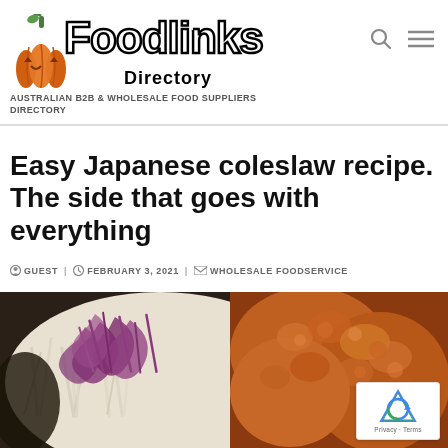Foodlinks Directory — AUSTRALIAN B2B & WHOLESALE FOOD SUPPLIERS DIRECTORY
Easy Japanese coleslaw recipe. The side that goes with everything
GUEST  FEBRUARY 3, 2021  WHOLESALE FOODSERVICE
[Figure (photo): Photo of Japanese coleslaw with shredded purple and white cabbage on the left, and crispy fried chicken on the right]